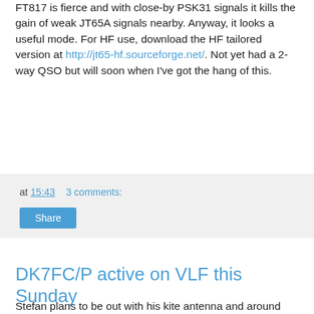FT817 is fierce and with close-by PSK31 signals it kills the gain of weak JT65A signals nearby. Anyway, it looks a useful mode. For HF use, download the HF tailored version at http://jt65-hf.sourceforge.net/. Not yet had a 2-way QSO but will soon when I've got the hang of this.
at 15:43   3 comments:
Share
DK7FC/P active on VLF this Sunday
Stefan plans to be out with his kite antenna and around 100mW ERP on the VLF bands this weekend from 0700-1630utc transmitting on 3 frequencies starting with 8.970000kHz.  Progress can be monitored on his grabber located 40km from the /P location. I am hoping to copy Stefan on 8.97kHz again as I managed it back in December.
These grabbers will show when he is active: